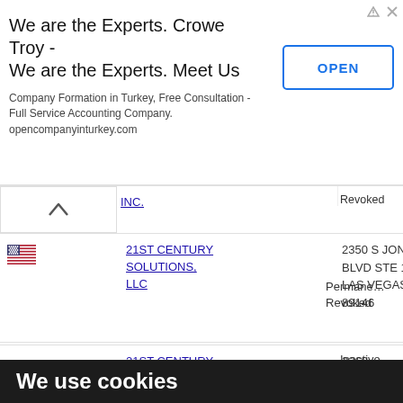[Figure (screenshot): Advertisement banner for Crowe Troy company formation service with OPEN button]
|  | Company | Address | Status |
| --- | --- | --- | --- |
| (flag) | 21ST CENTURY SOLUTIONS, LLC | 2350 S JONES BLVD STE 101 LAS VEGAS NV 89146 | Permanently Revoked |
|  | 21ST CENTURY SOLUTIONS, | 2269 RANCHETTE LANE PALM | Inactive |
We use cookies
We use cookies and other tracking technologies to improve your browsing experience on our website, to show you personalized content and targeted ads, to analyze our website traffic, and